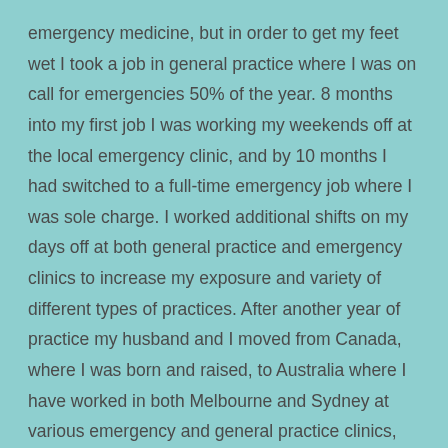emergency medicine, but in order to get my feet wet I took a job in general practice where I was on call for emergencies 50% of the year. 8 months into my first job I was working my weekends off at the local emergency clinic, and by 10 months I had switched to a full-time emergency job where I was sole charge. I worked additional shifts on my days off at both general practice and emergency clinics to increase my exposure and variety of different types of practices. After another year of practice my husband and I moved from Canada, where I was born and raised, to Australia where I have worked in both Melbourne and Sydney at various emergency and general practice clinics, both as a full-time employee and as a locum.
Throughout my career I have had many interviews